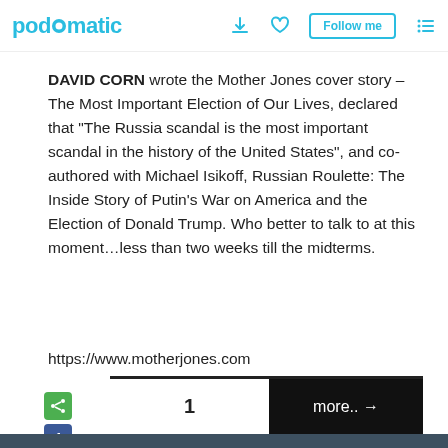podomatic
DAVID CORN wrote the Mother Jones cover story – The Most Important Election of Our Lives, declared that "The Russia scandal is the most important scandal in the history of the United States", and co-authored with Michael Isikoff, Russian Roulette: The Inside Story of Putin's War on America and the Election of Donald Trump. Who better to talk to at this moment…less than two weeks till the midterms.
https://www.motherjones.com
[Figure (other): Social sharing icons: share (green), Facebook (blue), Twitter (light blue), email (grey)]
1  more.. →